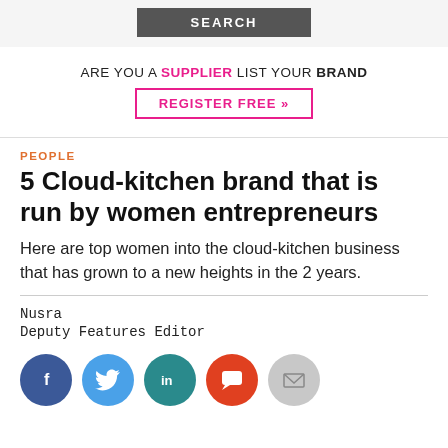SEARCH
ARE YOU A SUPPLIER LIST YOUR BRAND
REGISTER FREE »
PEOPLE
5 Cloud-kitchen brand that is run by women entrepreneurs
Here are top women into the cloud-kitchen business that has grown to a new heights in the 2 years.
Nusra
Deputy Features Editor
[Figure (infographic): Row of social media share icons: Facebook (dark blue circle with f), Twitter (blue circle with bird), LinkedIn (teal circle with in), Comments (orange-red circle with chat bubble), Email (grey circle with envelope)]